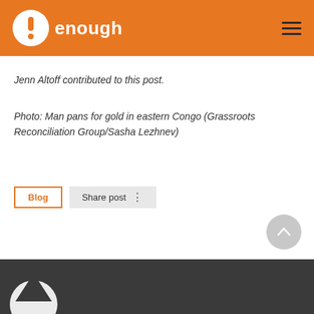enough
Jenn Altoff contributed to this post.
Photo: Man pans for gold in eastern Congo (Grassroots Reconciliation Group/Sasha Lezhnev)
Blog
Share post ⋮